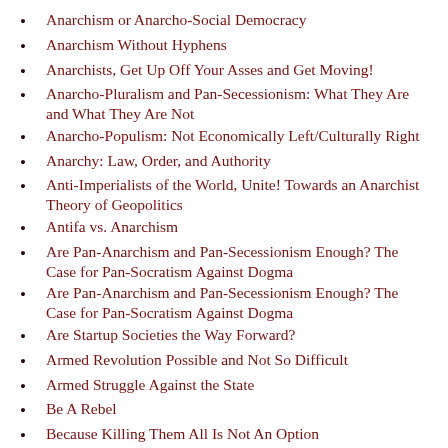Anarchism or Anarcho-Social Democracy
Anarchism Without Hyphens
Anarchists, Get Up Off Your Asses and Get Moving!
Anarcho-Pluralism and Pan-Secessionism: What They Are and What They Are Not
Anarcho-Populism: Not Economically Left/Culturally Right
Anarchy: Law, Order, and Authority
Anti-Imperialists of the World, Unite! Towards an Anarchist Theory of Geopolitics
Antifa vs. Anarchism
Are Pan-Anarchism and Pan-Secessionism Enough? The Case for Pan-Socratism Against Dogma
Are Pan-Anarchism and Pan-Secessionism Enough? The Case for Pan-Socratism Against Dogma
Are Startup Societies the Way Forward?
Armed Revolution Possible and Not So Difficult
Armed Struggle Against the State
Be A Rebel
Because Killing Them All Is Not An Option
Beyond Conservatism: Reclaiming the Radical Roots of Libertarianism